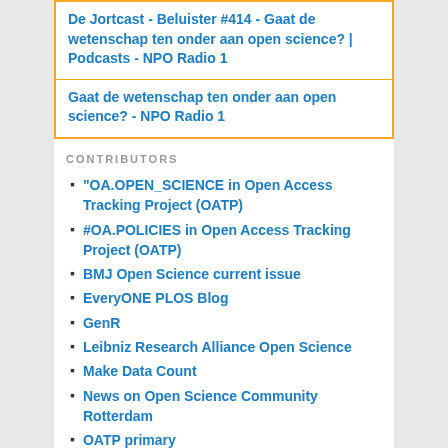De Jortcast - Beluister #414 - Gaat de wetenschap ten onder aan open science? | Podcasts - NPO Radio 1
Gaat de wetenschap ten onder aan open science? - NPO Radio 1
CONTRIBUTORS
"OA.OPEN_SCIENCE in Open Access Tracking Project (OATP)
#OA.POLICIES in Open Access Tracking Project (OATP)
BMJ Open Science current issue
EveryONE PLOS Blog
GenR
Leibniz Research Alliance Open Science
Make Data Count
News on Open Science Community Rotterdam
OATP primary
Open Access actueel
Open Science Blog (UoG Library)